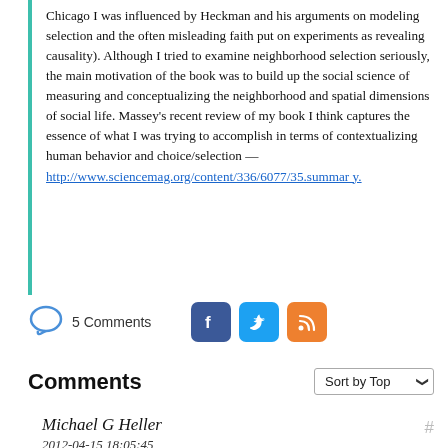Chicago I was influenced by Heckman and his arguments on modeling selection and the often misleading faith put on experiments as revealing causality). Although I tried to examine neighborhood selection seriously, the main motivation of the book was to build up the social science of measuring and conceptualizing the neighborhood and spatial dimensions of social life. Massey's recent review of my book I think captures the essence of what I was trying to accomplish in terms of contextualizing human behavior and choice/selection — http://www.sciencemag.org/content/336/6077/35.summary.
5 Comments
Comments
Michael G Heller
2012-04-15 18:05:45